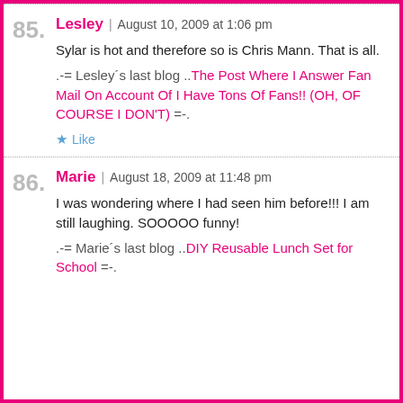85. Lesley | August 10, 2009 at 1:06 pm
Sylar is hot and therefore so is Chris Mann. That is all.
.-= Lesley´s last blog ..The Post Where I Answer Fan Mail On Account Of I Have Tons Of Fans!! (OH, OF COURSE I DON'T) =-.
86. Marie | August 18, 2009 at 11:48 pm
I was wondering where I had seen him before!!! I am still laughing. SOOOOO funny!
.-= Marie´s last blog ..DIY Reusable Lunch Set for School =-.